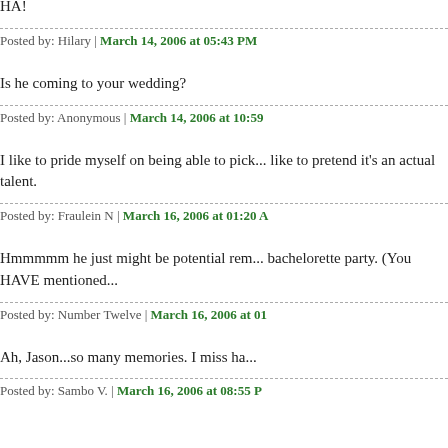HA!
Posted by: Hilary | March 14, 2006 at 05:43 PM
Is he coming to your wedding?
Posted by: Anonymous | March 14, 2006 at 10:59
I like to pride myself on being able to pick... like to pretend it's an actual talent.
Posted by: Fraulein N | March 16, 2006 at 01:20 A
Hmmmmm he just might be potential re... bachelorette party. (You HAVE mentione...
Posted by: Number Twelve | March 16, 2006 at 01
Ah, Jason...so many memories. I miss ha...
Posted by: Sambo V. | March 16, 2006 at 08:55 PM